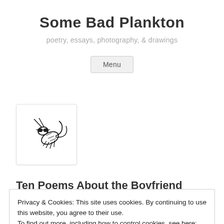Some Bad Plankton
poetry, essays, photography, & drawings
Menu
[Figure (illustration): Black and white illustration of a plankton/shrimp creature wearing sunglasses, shown inside a white rounded-corner box with light border]
Ten Poems About the Boyfriend
Privacy & Cookies: This site uses cookies. By continuing to use this website, you agree to their use.
To find out more, including how to control cookies, see here: Cookie Policy
Close and accept